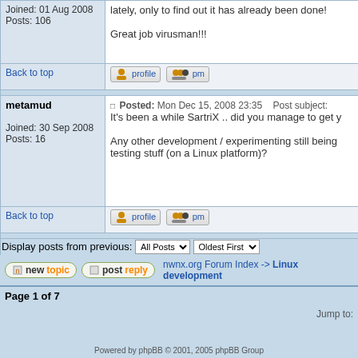Joined: 01 Aug 2008
Posts: 106
lately, only to find out it has already been done!

Great job virusman!!!
Back to top
metamud
Joined: 30 Sep 2008
Posts: 16
Posted: Mon Dec 15, 2008 23:35   Post subject:

It's been a while SartriX .. did you manage to get y

Any other development / experimenting still being
testing stuff (on a Linux platform)?
Back to top
Display posts from previous: All Posts  Oldest First
newtopic   postreply   nwnx.org Forum Index -> Linux development
Page 1 of 7
Jump to:
Powered by phpBB © 2001, 2005 phpBB Group